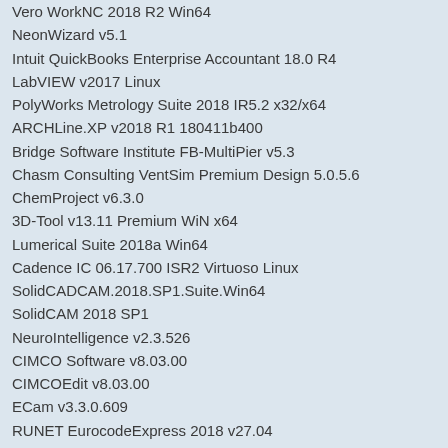Vero WorkNC 2018 R2 Win64
NeonWizard v5.1
Intuit QuickBooks Enterprise Accountant 18.0 R4
LabVIEW v2017 Linux
PolyWorks Metrology Suite 2018 IR5.2 x32/x64
ARCHLine.XP v2018 R1 180411b400
Bridge Software Institute FB-MultiPier v5.3
Chasm Consulting VentSim Premium Design 5.0.5.6
ChemProject v6.3.0
3D-Tool v13.11 Premium WiN x64
Lumerical Suite 2018a Win64
Cadence IC 06.17.700 ISR2 Virtuoso Linux
SolidCADCAM.2018.SP1.Suite.Win64
SolidCAM 2018 SP1
NeuroIntelligence v2.3.526
CIMCO Software v8.03.00
CIMCOEdit v8.03.00
ECam v3.3.0.609
RUNET EurocodeExpress 2018 v27.04
FunctionBay.RecurDyn.V9R1.SP1.1 x64
Prezi Pro v6.16.2.0
Roxar Tempest v6.7
Guthrie CAD Viewer v2018 A.04
NI LabVIEW Datalogging and Supervisory Control Module v2018
NI-DAQmx v18.0